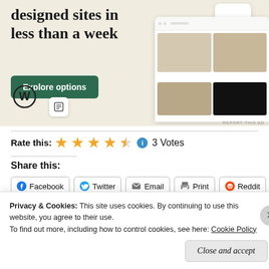[Figure (screenshot): WordPress/Squarespace ad banner with beige background showing 'designed sites in less than a week', green Explore options button, WordPress logo, and website mockup screenshots on the right side.]
Rate this: ★★★★½ ℹ 3 Votes
Share this:
Facebook  Twitter  Email  Print  Reddit
Privacy & Cookies: This site uses cookies. By continuing to use this website, you agree to their use. To find out more, including how to control cookies, see here: Cookie Policy
Close and accept